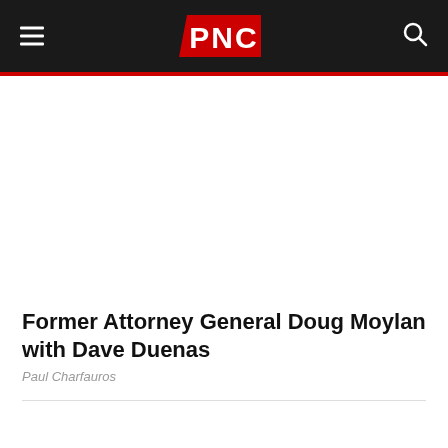PNC
[Figure (photo): White/blank image area below the PNC header navigation bar]
Former Attorney General Doug Moylan with Dave Duenas
Paul Charfauros